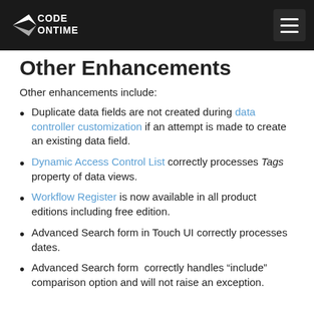Code On Time
Other Enhancements
Other enhancements include:
Duplicate data fields are not created during data controller customization if an attempt is made to create an existing data field.
Dynamic Access Control List correctly processes Tags property of data views.
Workflow Register is now available in all product editions including free edition.
Advanced Search form in Touch UI correctly processes dates.
Advanced Search form correctly handles “include” comparison option and will not raise an exception.